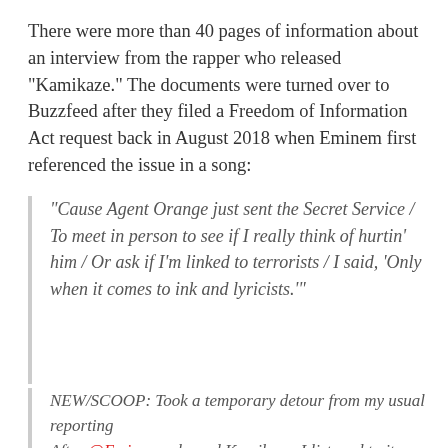There were more than 40 pages of information about an interview from the rapper who released "Kamikaze." The documents were turned over to Buzzfeed after they filed a Freedom of Information Act request back in August 2018 when Eminem first referenced the issue in a song:
"Cause Agent Orange just sent the Secret Service / To meet in person to see if I really think of hurtin' him / Or ask if I'm linked to terrorists / I said, 'Only when it comes to ink and lyricists.'"
NEW/SCOOP: Took a temporary detour from my usual reporting

After @Eminem released Kamikaze, I listened to it on my way home from work. On The Ringer, he raps he was visited by Secret Service.